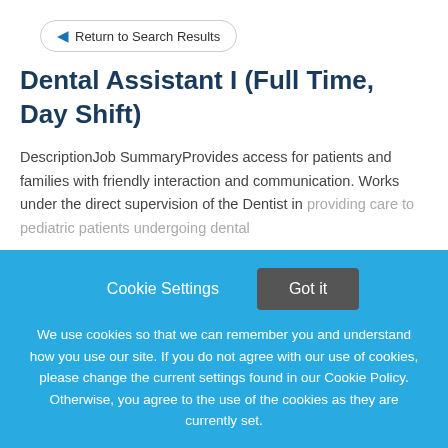Return to Search Results
Dental Assistant I (Full Time, Day Shift)
DescriptionJob SummaryProvides access for patients and families with friendly interaction and communication. Works under the direct supervision of the Dentist in providing care to pediatric patients undergoing dental
This job listing is no longer active.
Cookie Settings
Got it
We use cookies so that we can remember you and understand how you use our site. If you do not agree with our use of cookies, please change the current settings found in our Cookie Policy. Otherwise, you agree to the use of the cookies as they are currently set.